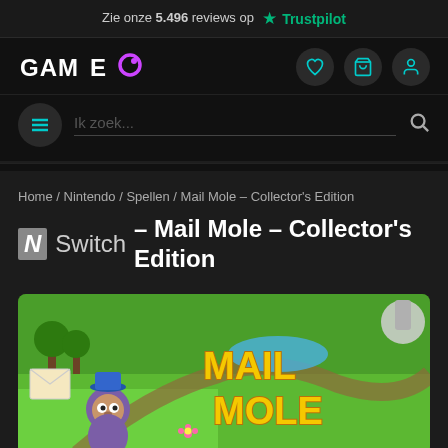Zie onze 5.496 reviews op Trustpilot
[Figure (logo): GAMEO logo with purple O, navigation icons for wishlist, cart, and user account]
Ik zoek...
Home / Nintendo / Spellen / Mail Mole – Collector's Edition
N Switch – Mail Mole – Collector's Edition
[Figure (photo): Mail Mole Collector's Edition game box art showing a cartoon mole character with a blue hat and large yellow 'MAIL MOLE' text on a colorful map/board game background]